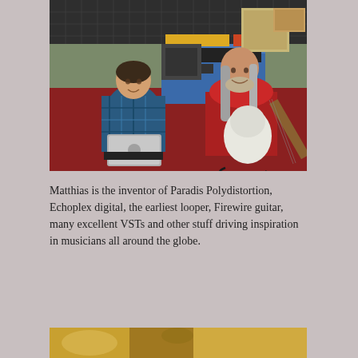[Figure (photo): Two men in a music studio. Left man sits in chair with a MacBook laptop, wearing blue plaid shirt. Right man sits on floor holding a white electric guitar, wearing red sweatshirt, with long gray hair and beard. Room has acoustic foam tiles on wall, equipment on tables with blue cloth, red carpet floor.]
Matthias is the inventor of Paradis Polydistortion, Echoplex digital, the earliest looper, Firewire guitar, many excellent VSTs and other stuff driving inspiration in musicians all around the globe.
[Figure (photo): Partial photo at bottom, showing warm golden tones, cropped.]